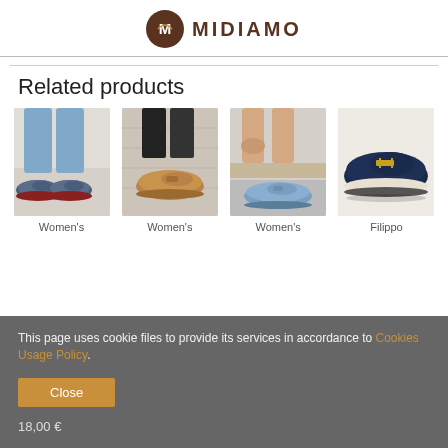MIDIAMO
Related products
[Figure (photo): Women's moccasin shoe - navy blue, worn by model with jeans]
[Figure (photo): Women's moccasin shoe - tan/camel color, worn by model with black pants]
[Figure (photo): Women's moccasin shoe - light blue, worn by model sitting on bench]
[Figure (photo): Filippo brand loafer - navy blue suede with gold buckle, product shot]
Women's
Women's
Women's
Filippo
This page uses cookie files to provide its services in accordance to Cookies Usage Policy.
Close
18,00 €